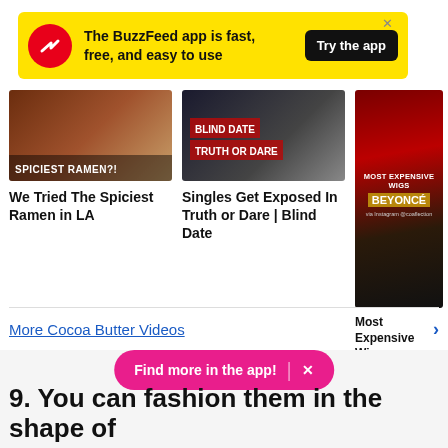[Figure (screenshot): BuzzFeed app advertisement banner with yellow background, red circular logo with white arrow, text 'The BuzzFeed app is fast, free, and easy to use', and black 'Try the app' button]
[Figure (photo): Video thumbnail for 'We Tried The Spiciest Ramen in LA' showing a bowl of ramen with overlay text 'SPICIEST RAMEN?!']
We Tried The Spiciest Ramen in LA
[Figure (photo): Video thumbnail showing 'BLIND DATE TRUTH OR DARE' text overlay on dark background]
Singles Get Exposed In Truth or Dare | Blind Date
[Figure (photo): Tall video thumbnail showing Beyonce and another woman against red curtain background, with overlay text 'MOST EXPENSIVE WIGS BEYONCE']
Most Expensive Wigs - Beyonce
More Cocoa Butter Videos
Find more in the app! ×
9. You can fashion them in the shape of